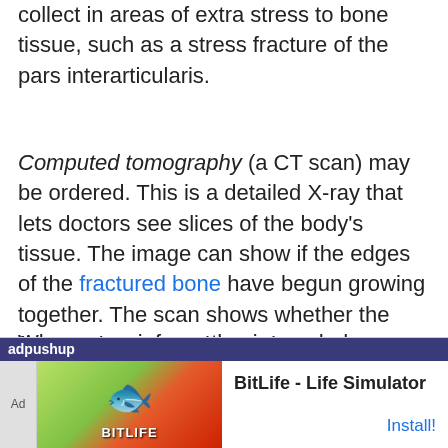collect in areas of extra stress to bone tissue, such as a stress fracture of the pars interarticularis.
Computed tomography (a CT scan) may be ordered. This is a detailed X-ray that lets doctors see slices of the body's tissue. The image can show if the edges of the fractured bone have begun growing together. The scan shows whether the fracture is new or old, so doctors can decide which treatments will help the most.
When more information is needed, your doctor may order a magnetic resonance imaging (MRI) scan. The MRI machine uses magnetic waves rather than X-rays to show the soft tissues of the body...
[Figure (screenshot): Advertisement banner for BitLife - Life Simulator app showing adpushup ad network label, Ad badge, colorful game image with sperm icon and BitLife logo, app title 'BitLife - Life Simulator', and Install button]